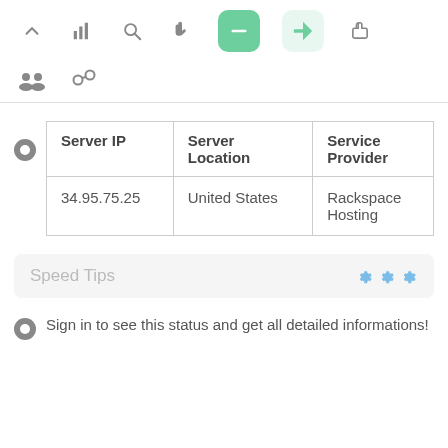[Figure (screenshot): Top navigation toolbar with icons: chevron up, bar chart, search/magnifier, hand pointer, green filled button, green light rocket/send button, thumbs up]
[Figure (screenshot): Second toolbar row with group/people icon and link/chain icon]
| Server IP | Server Location | Service Provider |
| --- | --- | --- |
| 34.95.75.25 | United States | Rackspace Hosting |
Speed Tips
Sign in to see this status and get all detailed informations!